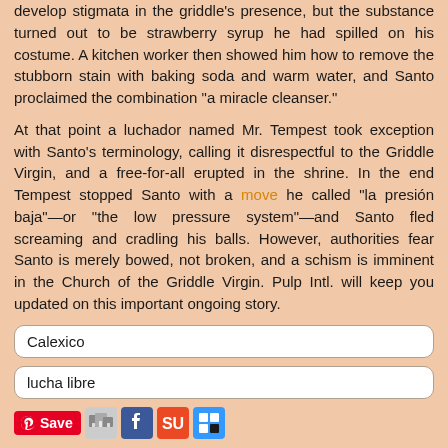develop stigmata in the griddle's presence, but the substance turned out to be strawberry syrup he had spilled on his costume. A kitchen worker then showed him how to remove the stubborn stain with baking soda and warm water, and Santo proclaimed the combination "a miracle cleanser."
At that point a luchador named Mr. Tempest took exception with Santo's terminology, calling it disrespectful to the Griddle Virgin, and a free-for-all erupted in the shrine. In the end Tempest stopped Santo with a move he called "la presión baja"—or "the low pressure system"—and Santo fled screaming and cradling his balls. However, authorities fear Santo is merely bowed, not broken, and a schism is imminent in the Church of the Griddle Virgin. Pulp Intl. will keep you updated on this important ongoing story.
Calexico
lucha libre
[Figure (other): Social sharing buttons: Pinterest Save, a small building/people icon, Facebook icon, StumbleUpon icon, and Delicious icon]